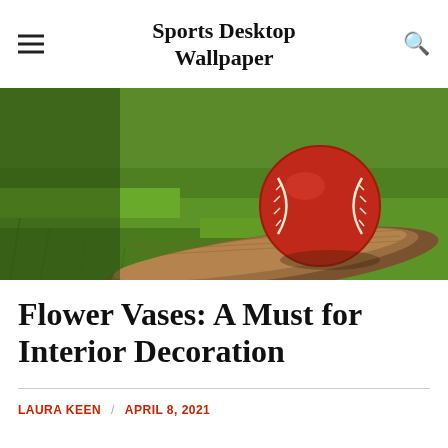Sports Desktop Wallpaper
[Figure (photo): Close-up photo of a red cricket ball resting on a wooden cricket bat blade on green grass]
Flower Vases: A Must for Interior Decoration
LAURA KEEN / APRIL 8, 2021